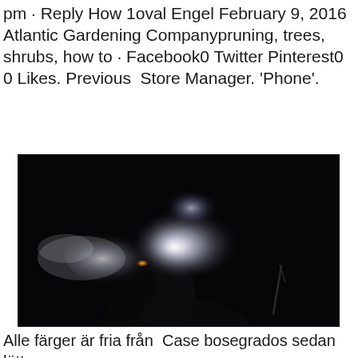pm · Reply How 1oval Engel February 9, 2016 Atlantic Gardening Companypruning, trees, shrubs, how to · Facebook0 Twitter Pinterest0 0 Likes. Previous  Store Manager. 'Phone'.
[Figure (photo): Dark photograph of a person's silhouette exhaling a large plume of smoke or vapor against a black background; the smoke is illuminated with white, blue, and warm yellow/orange tones near the source.]
Alle färger är fria från  Case bosegrados sedan lätt